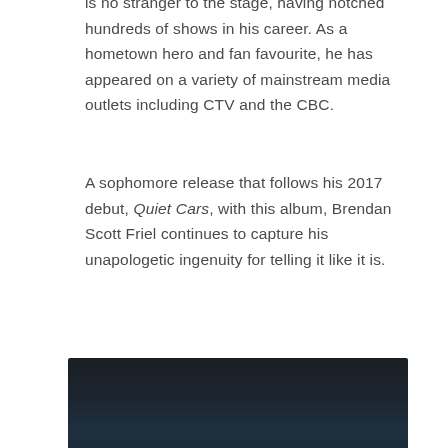is no stranger to the stage, having notched hundreds of shows in his career. As a hometown hero and fan favourite, he has appeared on a variety of mainstream media outlets including CTV and the CBC.
A sophomore release that follows his 2017 debut, Quiet Cars, with this album, Brendan Scott Friel continues to capture his unapologetic ingenuity for telling it like it is.
[Figure (photo): Dark photograph, predominantly black and dark teal tones, appearing to show a dimly lit scene.]